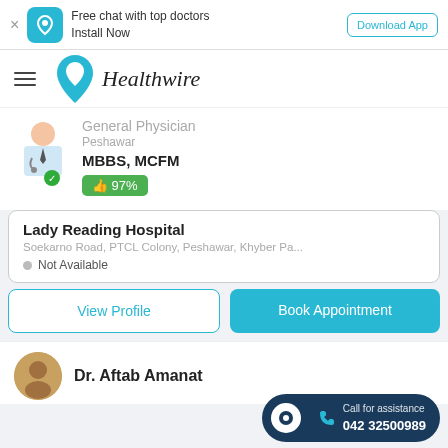Free chat with top doctors Install Now | Download App
[Figure (logo): Healthwire logo with teal heart/location pin icon and italic text 'Healthwire']
General Physician
Peshawar
MBBS, MCFM
97%
Lady Reading Hospital
Soekarno Road, PTCL Colony, Peshawar, Khyber Pa...
Not Available
View Profile
Book Appointment
Dr. Aftab Amanat
Call for assistance 042 32500989